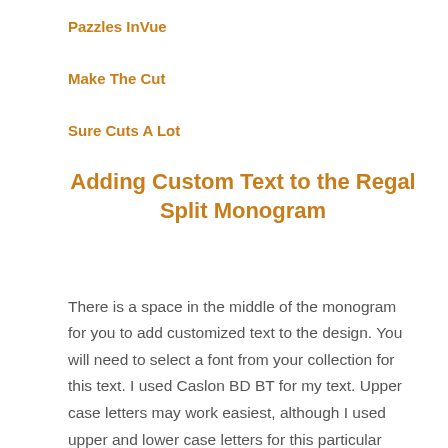Pazzles InVue
Make The Cut
Sure Cuts A Lot
Adding Custom Text to the Regal Split Monogram
There is a space in the middle of the monogram for you to add customized text to the design. You will need to select a font from your collection for this text. I used Caslon BD BT for my text. Upper case letters may work easiest, although I used upper and lower case letters for this particular project. After you have selected the font you would like to use for the remainder of the project,